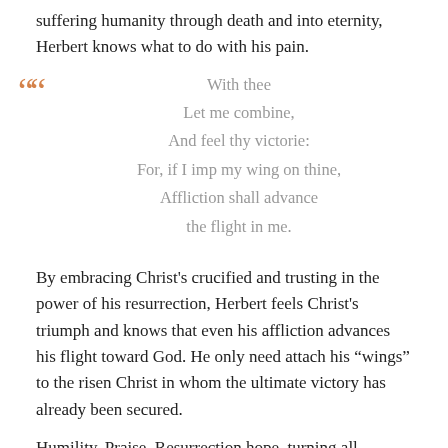suffering humanity through death and into eternity, Herbert knows what to do with his pain.
With thee
Let me combine,
And feel thy victorie:
For, if I imp my wing on thine,
Affliction shall advance
the flight in me.
By embracing Christ's crucified and trusting in the power of his resurrection, Herbert feels Christ's triumph and knows that even his affliction advances his flight toward God. He only need attach his “wings” to the risen Christ in whom the ultimate victory has already been secured.
Humility. Praise. Resurrection hope, turning all